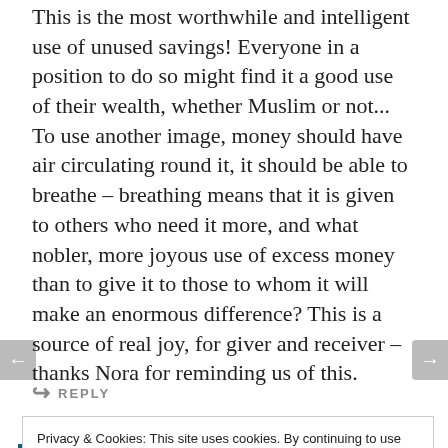This is the most worthwhile and intelligent use of unused savings! Everyone in a position to do so might find it a good use of their wealth, whether Muslim or not... To use another image, money should have air circulating round it, it should be able to breathe – breathing means that it is given to others who need it more, and what nobler, more joyous use of excess money than to give it to those to whom it will make an enormous difference? This is a source of real joy, for giver and receiver – thanks Nora for reminding us of this.
↪ REPLY
Privacy & Cookies: This site uses cookies. By continuing to use this website, you agree to their use. To find out more, including how to control cookies, see here: Cookie Policy
Close and accept